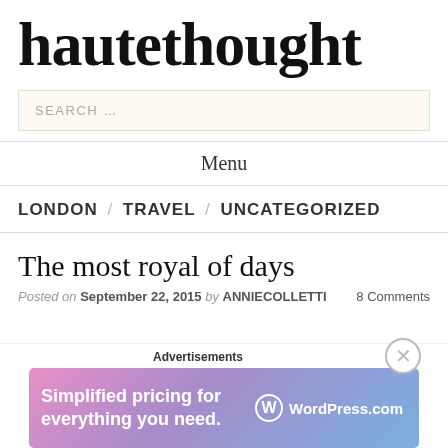hautethought
SEARCH …
Menu
LONDON / TRAVEL / UNCATEGORIZED
The most royal of days
Posted on September 22, 2015 by ANNIECOLLETTI   8 Comments
[Figure (screenshot): WordPress.com advertisement banner: 'Simplified pricing for everything you need.' with WordPress.com logo on gradient pink-blue background]